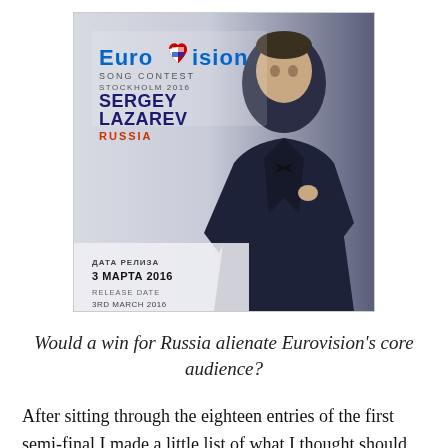[Figure (photo): Eurovision Song Contest Stockholm 2016 promotional image for Sergey Lazarev representing Russia. Shows a man in a dark navy suit with bow tie. Text on image includes Eurovision logo, 'SONG CONTEST STOCKHOLM 2016', 'SERGEY LAZAREV', 'RUSSIA', Russian text 'ДАТА РЕЛИЗА 3 МАРТА 2016' and 'RELEASE DATE 3RD MARCH 2016'.]
Would a win for Russia alienate Eurovision's core audience?
After sitting through the eighteen entries of the first semi-final I made a little list of what I thought should go through and I got nine out of the ten right.  The